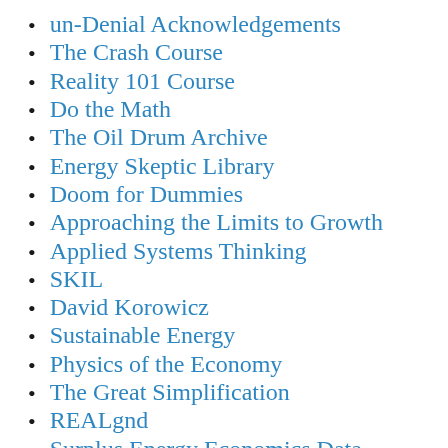un-Denial Acknowledgements
The Crash Course
Reality 101 Course
Do the Math
The Oil Drum Archive
Energy Skeptic Library
Doom for Dummies
Approaching the Limits to Growth
Applied Systems Thinking
SKIL
David Korowicz
Sustainable Energy
Physics of the Economy
The Great Simplification
REALgnd
Surplus Energy Economics Data System